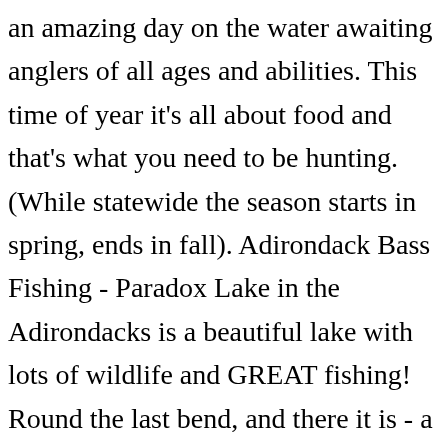an amazing day on the water awaiting anglers of all ages and abilities. This time of year it's all about food and that's what you need to be hunting. (While statewide the season starts in spring, ends in fall). Adirondack Bass Fishing - Paradox Lake in the Adirondacks is a beautiful lake with lots of wildlife and GREAT fishing! Round the last bend, and there it is - a dark bottomed pond that has lost all but the very last traces of ice. Trout, bass, walleyes, northern pike, and muskies are just a few of the popular fish found in Adirondack waters.